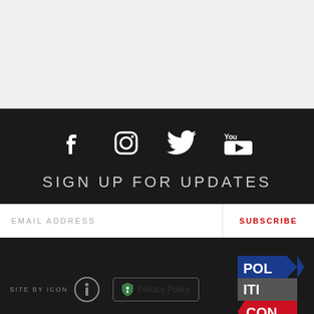[Figure (other): Gray header/banner area at top of page]
[Figure (other): Social media icons row: Facebook, Instagram, Twitter, YouTube]
SIGN UP FOR UPDATES
[Figure (other): Email subscription form with EMAIL ADDRESS input field and SUBSCRIBE button]
[Figure (other): Footer row: SITE BY ICON with circle-i logo, Privacy Policy badge, and Politicon logo]